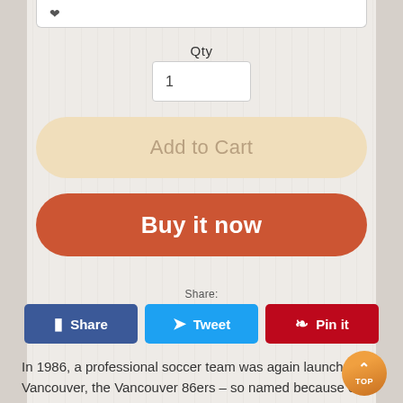Qty
1
Add to Cart
Buy it now
Share:
Share
Tweet
Pin it
In 1986, a professional soccer team was again launched in Vancouver, the Vancouver 86ers – so named because of both the year of the team's founding and to